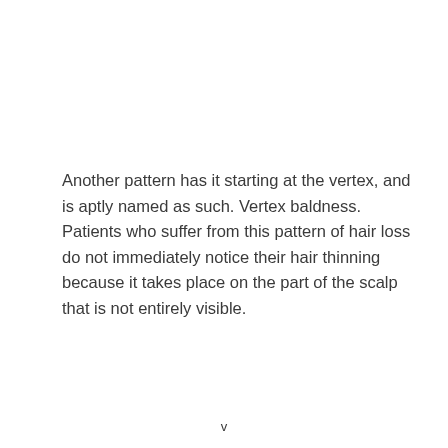Another pattern has it starting at the vertex, and is aptly named as such. Vertex baldness. Patients who suffer from this pattern of hair loss do not immediately notice their hair thinning because it takes place on the part of the scalp that is not entirely visible.
v